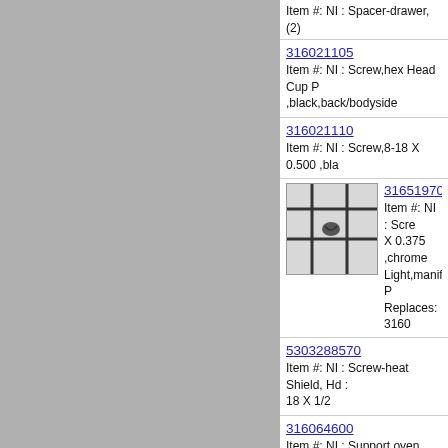Item #: NI : Spacer-drawer, (2)
316021105
Item #: NI : Screw,hex Head Cup P ,black,back/bodyside
316021110
Item #: NI : Screw,8-18 X 0.500 ,bla
316519700
Item #: NI : Scre X 0.375 ,chrome Light,manifold P Replaces: 3160
5303288570
Item #: NI : Screw-heat Shield, Hd : 18 X 1/2
316064600
Item #: NI : Support,oven Bottom
316519700
Item #: NI : Scre X 0.375 ,chrome Light,manifold P Replaces: 3160
316001632
Item #: NI : Wiring Harness,chassis